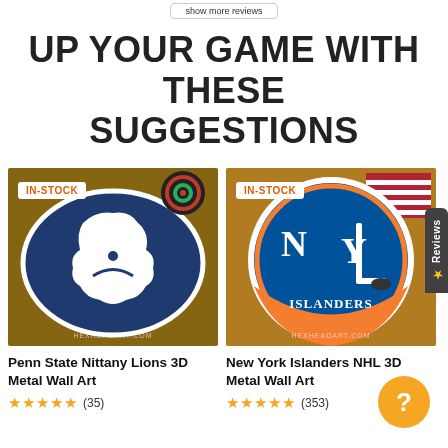show more reviews
UP YOUR GAME WITH THESE SUGGESTIONS
[Figure (photo): Penn State Nittany Lions 3D Metal Wall Art product photo with IN-STOCK badge]
Penn State Nittany Lions 3D Metal Wall Art
★★★★★ (35)
[Figure (photo): New York Islanders NHL 3D Metal Wall Art product photo with IN-STOCK badge]
New York Islanders NHL 3D Metal Wall Art
★★★★★ (353)